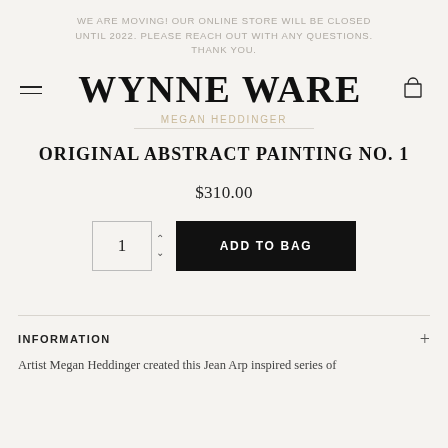WE ARE MOVING! OUR ONLINE STORE WILL BE CLOSED UNTIL 2022. PLEASE REACH OUT WITH ANY QUESTIONS. THANK YOU.
WYNNE WARE
MEGAN HEDDINGER
ORIGINAL ABSTRACT PAINTING NO. 1
$310.00
ADD TO BAG
INFORMATION
Artist Megan Heddinger created this Jean Arp inspired series of